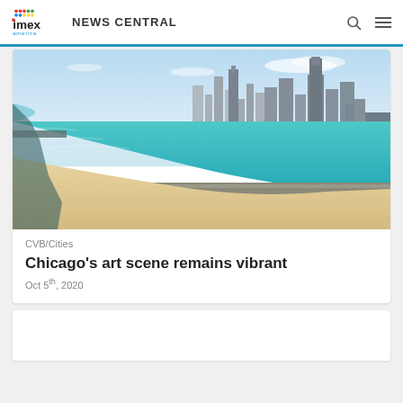imex america NEWS CENTRAL
[Figure (photo): Aerial view of Chicago skyline with Lake Michigan shoreline, sandy beach, and city skyscrapers under a blue sky]
CVB/Cities
Chicago's art scene remains vibrant
Oct 5th, 2020